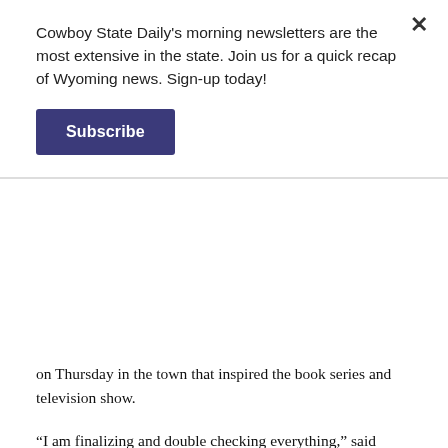Cowboy State Daily's morning newsletters are the most extensive in the state. Join us for a quick recap of Wyoming news. Sign-up today!
Subscribe
on Thursday in the town that inspired the book series and television show.
“I am finalizing and double checking everything,” said Jennifer McCormick, director of the Longmire Foundation in Buffalo. “From making sure that our scheduling is all good for horseback rides, and making sure that the T.A. Ranch is ready and prepared, which they always are, down to making sure we have enough sharpies.”
This is the first year the celebration has taken place since the pandemic shut down the event in 2020. McCormick said that although the virtual events were successful the